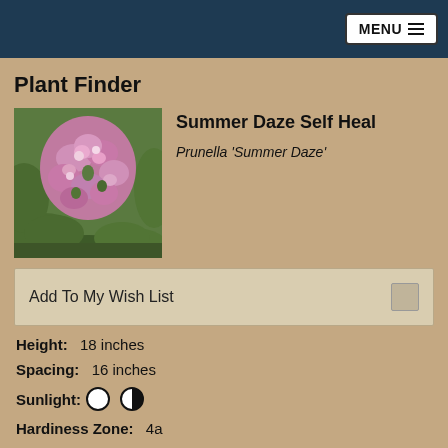MENU
Plant Finder
[Figure (photo): Close-up photograph of Summer Daze Self Heal plant with pink/purple clustered flowers and green foliage]
Summer Daze Self Heal
Prunella 'Summer Daze'
Add To My Wish List
Height:  18 inches
Spacing:  16 inches
Sunlight:
Hardiness Zone:  4a
Other Names:  Self-Heal, Selfheal
Description: